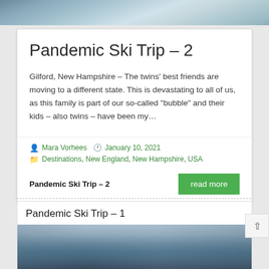[Figure (photo): Snowy mountain slope aerial view at the top of the page]
Pandemic Ski Trip – 2
Gilford, New Hampshire – The twins' best friends are moving to a different state. This is devastating to all of us, as this family is part of our so-called "bubble" and their kids – also twins – have been my…
Mara Vorhees  January 10, 2021  Destinations, New England, New Hampshire, USA
Pandemic Ski Trip – 2
read more
Pandemic Ski Trip – 1
[Figure (photo): Winter forest scene with snow-covered trees at dusk, partial view of a vehicle or structure]